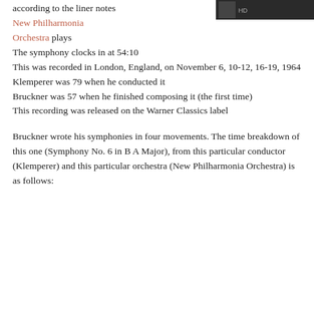[Figure (photo): Black and white photo thumbnail in top right corner]
according to the liner notes
New Philharmonia Orchestra plays
The symphony clocks in at 54:10
This was recorded in London, England, on November 6, 10-12, 16-19, 1964
Klemperer was 79 when he conducted it
Bruckner was 57 when he finished composing it (the first time)
This recording was released on the Warner Classics label
Bruckner wrote his symphonies in four movements. The time breakdown of this one (Symphony No. 6 in B A Major), from this particular conductor (Klemperer) and this particular orchestra (New Philharmonia Orchestra) is as follows: